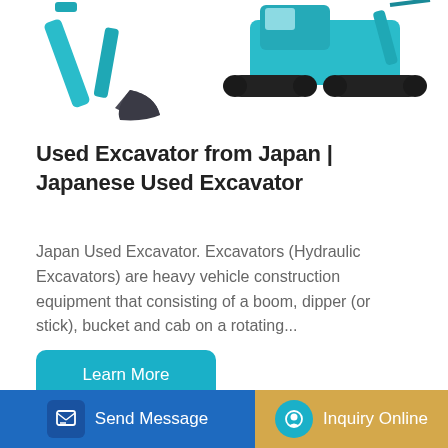[Figure (photo): Two excavators (teal/turquoise color) shown at the top of the page — left side shows excavator bucket arm, right side shows excavator tracks/undercarriage]
Used Excavator from Japan | Japanese Used Excavator
Japan Used Excavator. Excavators (Hydraulic Excavators) are heavy vehicle construction equipment that consisting of a boom, dipper (or stick), bucket and cab on a rotating...
[Figure (photo): Yellow YUCHAI branded excavators shown at the bottom of the page]
Send Message | Inquiry Online